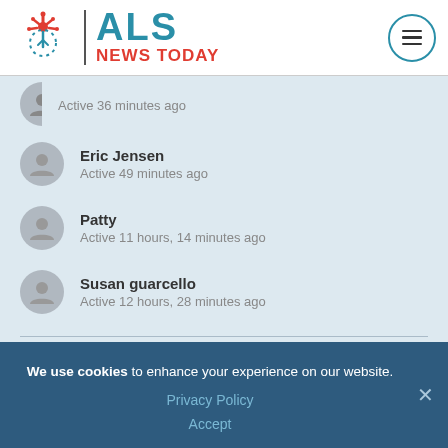[Figure (logo): ALS News Today logo with red neuron icon, vertical divider, teal ALS text and red NEWS TODAY text]
Active 36 minutes ago
Eric Jensen
Active 49 minutes ago
Patty
Active 11 hours, 14 minutes ago
Susan guarcello
Active 12 hours, 28 minutes ago
Forums
We use cookies to enhance your experience on our website.
Privacy Policy
Accept